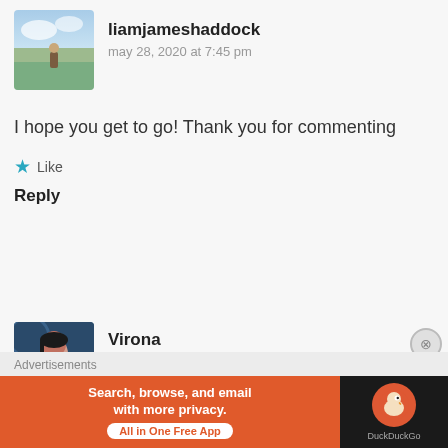[Figure (photo): Avatar photo of liamjameshaddock – outdoor landscape scene]
liamjameshaddock
may 28, 2020 at 7:45 pm
I hope you get to go! Thank you for commenting
★ Like
Reply
[Figure (photo): Avatar photo of Virona – woman portrait]
Virona
july 22, 2020 at 9:34 pm
Advertisements
[Figure (other): DuckDuckGo advertisement banner: Search, browse, and email with more privacy. All in One Free App]